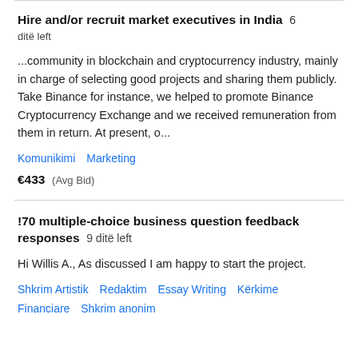Hire and/or recruit market executives in India  6 ditë left
...community in blockchain and cryptocurrency industry, mainly in charge of selecting good projects and sharing them publicly. Take Binance for instance, we helped to promote Binance Cryptocurrency Exchange and we received remuneration from them in return. At present, o...
Komunikimi   Marketing
€433  (Avg Bid)
!70 multiple-choice business question feedback responses  9 ditë left
Hi Willis A., As discussed I am happy to start the project.
Shkrim Artistik   Redaktim   Essay Writing   Kërkime Financiare   Shkrim anonim